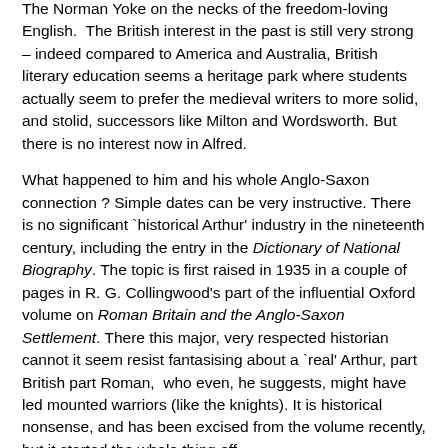The Norman Yoke on the necks of the freedom-loving English.  The British interest in the past is still very strong – indeed compared to America and Australia, British literary education seems a heritage park where students actually seem to prefer the medieval writers to more solid, and stolid, successors like Milton and Wordsworth. But there is no interest now in Alfred.
What happened to him and his whole Anglo-Saxon connection ? Simple dates can be very instructive. There is no significant `historical Arthur' industry in the nineteenth century, including the entry in the Dictionary of National Biography. The topic is first raised in 1935 in a couple of pages in R. G. Collingwood's part of the influential Oxford volume on Roman Britain and the Anglo-Saxon Settlement. There this major, very respected historian cannot it seem resist fantasising about a `real' Arthur, part British part Roman,  who even, he suggests, might have led mounted warriors (like the knights). It is historical nonsense, and has been excised from the volume recently, but it started the whole thing off.
What was the point ? Through all the novels and lightweight